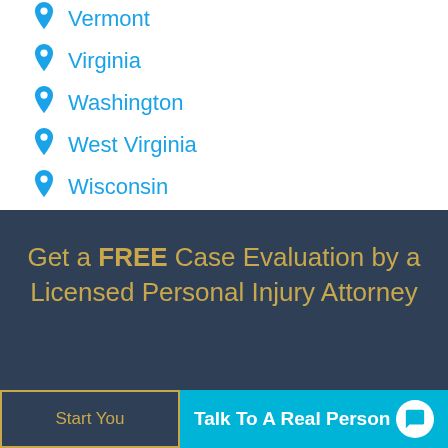Vermont
Virginia
Washington
West Virginia
Wisconsin
Wyoming
Get a FREE Case Evaluation by a Licensed Personal Injury Attorney
Start You
Talk To A Real Person